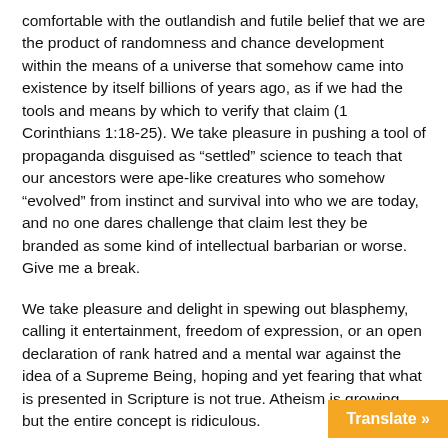comfortable with the outlandish and futile belief that we are the product of randomness and chance development within the means of a universe that somehow came into existence by itself billions of years ago, as if we had the tools and means by which to verify that claim (1 Corinthians 1:18-25). We take pleasure in pushing a tool of propaganda disguised as “settled” science to teach that our ancestors were ape-like creatures who somehow “evolved” from instinct and survival into who we are today, and no one dares challenge that claim lest they be branded as some kind of intellectual barbarian or worse. Give me a break.
We take pleasure and delight in spewing out blasphemy, calling it entertainment, freedom of expression, or an open declaration of rank hatred and a mental war against the idea of a Supreme Being, hoping and yet fearing that what is presented in Scripture is not true. Atheism is growing, but the entire concept is ridiculous.
Why do people rage against a Being in who they don’t believe? Why are they angry and vindictive